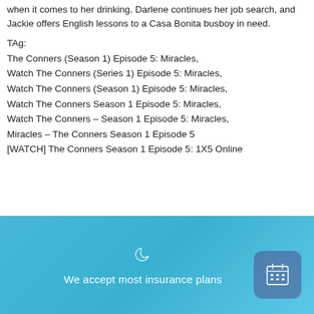when it comes to her drinking. Darlene continues her job search, and Jackie offers English lessons to a Casa Bonita busboy in need.
TAg:
The Conners (Season 1) Episode 5: Miracles,
Watch The Conners (Series 1) Episode 5: Miracles,
Watch The Conners (Season 1) Episode 5: Miracles,
Watch The Conners Season 1 Episode 5: Miracles,
Watch The Conners – Season 1 Episode 5: Miracles,
Miracles – The Conners Season 1 Episode 5
[WATCH] The Conners Season 1 Episode 5: 1X5 Online
We accept most insurance plans